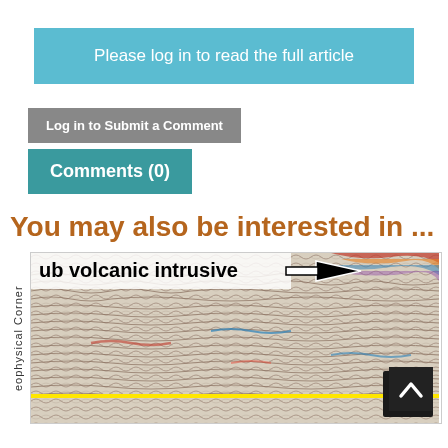Please log in to read the full article
Log in to Submit a Comment
Comments (0)
You may also be interested in ...
[Figure (photo): Seismic section image showing sub volcanic intrusive with colored reflections and a yellow highlighted horizon. A large arrow points right. Sidebar text reads 'eophysical Corner'.]